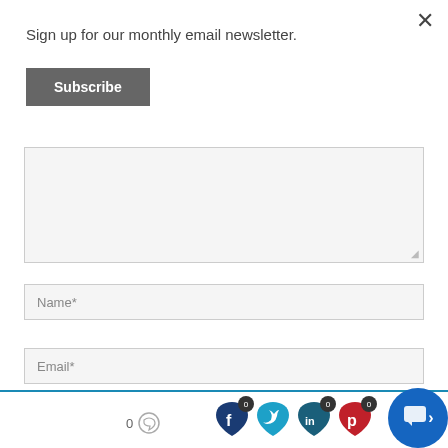Sign up for our monthly email newsletter.
[Figure (screenshot): Subscribe button — dark gray rectangular button with white bold text 'Subscribe']
[Figure (screenshot): Text area input field (empty, light gray background, resize handle at bottom right)]
[Figure (screenshot): Name* input field (light gray, placeholder text 'Name*')]
[Figure (screenshot): Email* input field (light gray, placeholder text 'Email*')]
[Figure (screenshot): Bottom bar with comment count '0', speech bubble icon, social share icons (Facebook 0, Twitter, LinkedIn 0, Pinterest 0), and blue chat button with arrow]